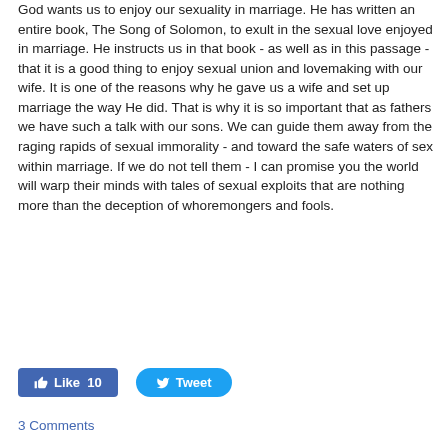God wants us to enjoy our sexuality in marriage. He has written an entire book, The Song of Solomon, to exult in the sexual love enjoyed in marriage. He instructs us in that book - as well as in this passage - that it is a good thing to enjoy sexual union and lovemaking with our wife. It is one of the reasons why he gave us a wife and set up marriage the way He did. That is why it is so important that as fathers we have such a talk with our sons. We can guide them away from the raging rapids of sexual immorality - and toward the safe waters of sex within marriage. If we do not tell them - I can promise you the world will warp their minds with tales of sexual exploits that are nothing more than the deception of whoremongers and fools.
[Figure (other): Facebook Like button showing 10 likes and a Twitter Tweet button]
3 Comments